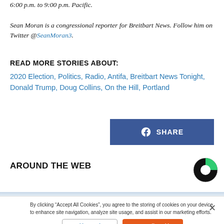6:00 p.m. to 9:00 p.m. Pacific.
Sean Moran is a congressional reporter for Breitbart News. Follow him on Twitter @SeanMoran3.
READ MORE STORIES ABOUT:
2020 Election, Politics, Radio, Antifa, Breitbart News Tonight, Donald Trump, Doug Collins, On the Hill, Portland
[Figure (other): Facebook Share button with blue background and white 'f' icon and 'SHARE' text]
AROUND THE WEB
[Figure (logo): Around the Web logo - circular logo with green and dark sections]
[Figure (photo): Blue sky/clouds banner image]
By clicking "Accept All Cookies", you agree to the storing of cookies on your device to enhance site navigation, analyze site usage, and assist in our marketing efforts.
Cookies Settings | Accept All Cookies